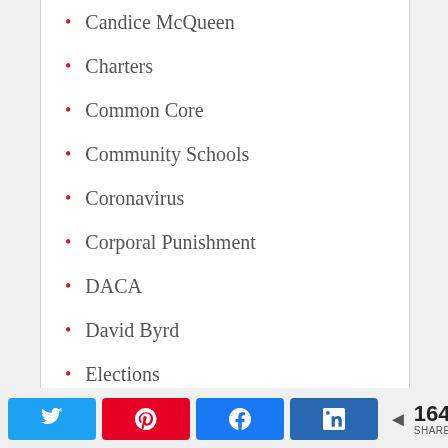Candice McQueen
Charters
Common Core
Community Schools
Coronavirus
Corporal Punishment
DACA
David Byrd
Elections
ESSA
For-Profit Schools
164 SHARES